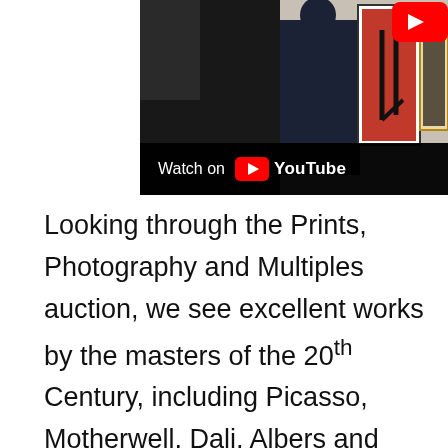[Figure (photo): A YouTube video thumbnail showing a person viewing framed artworks on a gallery wall. The artworks include abstract prints. A YouTube play button is visible in the top right. A 'Watch on YouTube' overlay bar appears at the bottom of the image.]
Looking through the Prints, Photography and Multiples auction, we see excellent works by the masters of the 20th Century, including Picasso, Motherwell, Dali, Albers and Chagall. But there are two exceptionally rare prints that are wonderful examples of the difference between an etching and an engraving.